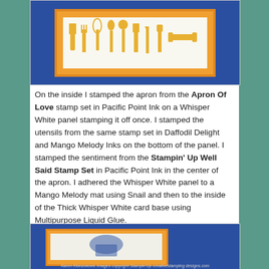[Figure (photo): Top portion of a handmade stamping card showing kitchen utensils silhouettes in yellow/gold on an orange/gold background layered on navy blue card stock.]
On the inside I stamped the apron from the Apron Of Love stamp set in Pacific Point Ink on a Whisper White panel stamping it off once.  I stamped the utensils from the same stamp set in Daffodil Delight and Mango Melody Inks on the bottom of the panel.  I stamped the sentiment from the Stampin' Up Well Said Stamp Set in Pacific Point Ink in the center of the apron.  I adhered the Whisper White panel to a Mango Melody mat using Snail and then to the inside of the Thick Whisper White card base using Multipurpose Liquid Glue.
[Figure (photo): Bottom portion showing another view of the stamped card with an apron image, on navy blue background, with watermark text: Karen Klonzokovic Images copyright Stampin'Up creativestamping designs.com]